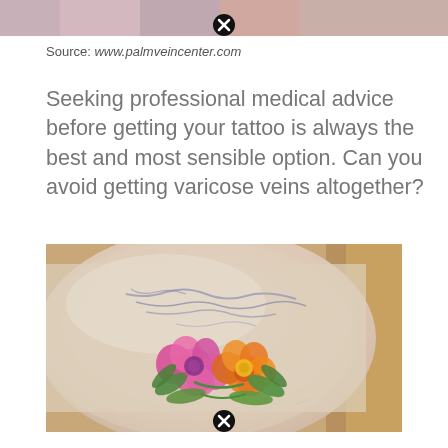[Figure (photo): Top strip of a photo showing partial image of a person, cropped at top of page]
Source: www.palmveincenter.com
Seeking professional medical advice before getting your tattoo is always the best and most sensible option. Can you avoid getting varicose veins altogether?
[Figure (photo): Close-up photo of a person's leg showing varicose veins and a colorful floral tattoo with pink and orange flowers with green leaves]